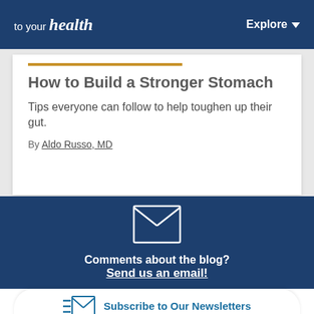to your health | Explore
How to Build a Stronger Stomach
Tips everyone can follow to help toughen up their gut.
By Aldo Russo, MD
[Figure (illustration): Envelope icon indicating email contact]
Comments about the blog? Send us an email!
Subscribe to Our Newsletters